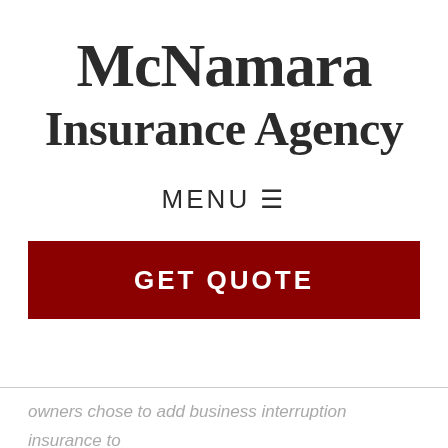McNamara Insurance Agency
MENU ☰
[Figure (other): GET QUOTE button — dark red/crimson rectangular banner with white uppercase text]
owners chose to add business interruption insurance to their property insurance to protect against this eventuality.